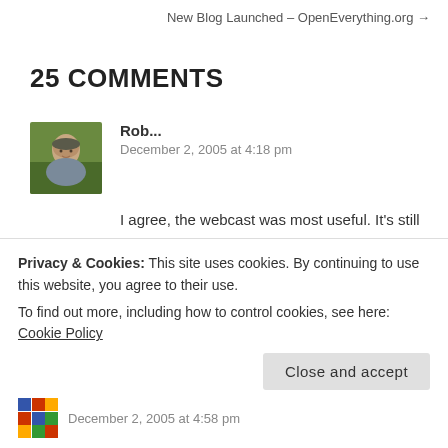New Blog Launched – OpenEverything.org →
25 COMMENTS
[Figure (photo): Avatar photo of commenter Rob, a bald man shown from shoulders up against a green outdoor background]
Rob...
December 2, 2005 at 4:18 pm
I agree, the webcast was most useful. It's still frustrating to have to wait before we can play with it though!
★ Like
Privacy & Cookies: This site uses cookies. By continuing to use this website, you agree to their use.
To find out more, including how to control cookies, see here: Cookie Policy
Close and accept
[Figure (logo): Colorful mosaic/pixel logo for second commenter]
December 2, 2005 at 4:58 pm